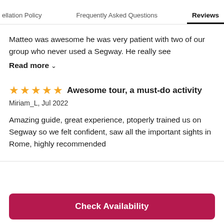ellation Policy   Frequently Asked Questions   Reviews
Matteo was awesome he was very patient with two of our group who never used a Segway. He really see
Read more ∨
★★★★★ Awesome tour, a must-do activity
Miriam_L, Jul 2022
Amazing guide, great experience, ptoperly trained us on Segway so we felt confident, saw all the important sights in Rome, highly recommended
Check Availability